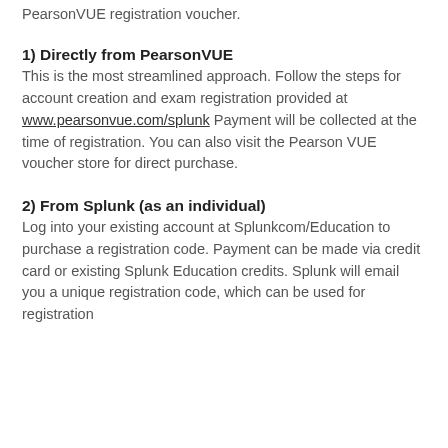PearsonVUE registration voucher.
1) Directly from PearsonVUE
This is the most streamlined approach. Follow the steps for account creation and exam registration provided at www.pearsonvue.com/splunk Payment will be collected at the time of registration. You can also visit the Pearson VUE voucher store for direct purchase.
2) From Splunk (as an individual)
Log into your existing account at Splunkcom/Education to purchase a registration code. Payment can be made via credit card or existing Splunk Education credits. Splunk will email you a unique registration code, which can be used for registration